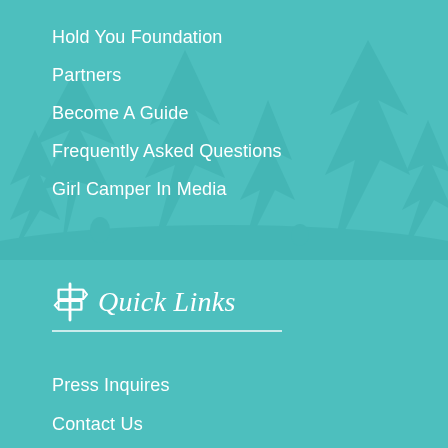Hold You Foundation
Partners
Become A Guide
Frequently Asked Questions
Girl Camper In Media
Quick Links
Press Inquires
Contact Us
Terms & Conditions
Privacy & Editorial Policy